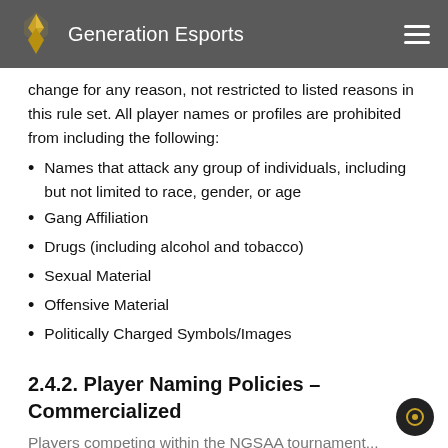Generation Esports
change for any reason, not restricted to listed reasons in this rule set. All player names or profiles are prohibited from including the following:
Names that attack any group of individuals, including but not limited to race, gender, or age
Gang Affiliation
Drugs (including alcohol and tobacco)
Sexual Material
Offensive Material
Politically Charged Symbols/Images
2.4.2. Player Naming Policies – Commercialized
Players competing within the NGSAA tournament...